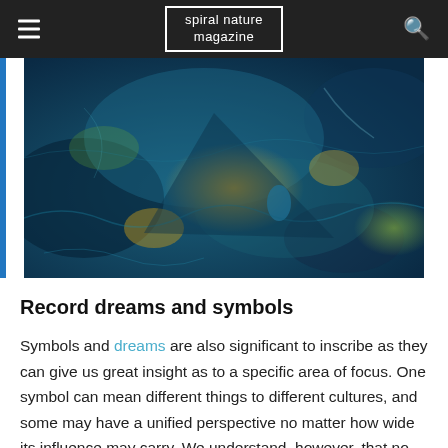spiral nature magazine
[Figure (photo): Abstract aerial or microscopic image with teal, blue, and golden-yellow tones showing landscape-like patterns]
Record dreams and symbols
Symbols and dreams are also significant to inscribe as they can give us great insight as to a specific area of focus. One symbol can mean different things to different cultures, and some may have a unified perspective no matter how wide its influence may carry. We understand, however, that no matter